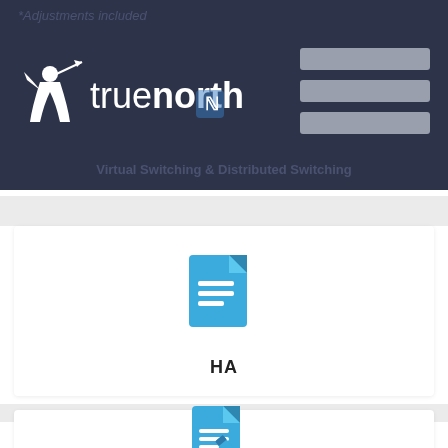*Adjustments included
[Figure (logo): TrueNorth company logo with archer figure in white on dark navy background]
Virtual Switching & Distributed Switching
[Figure (illustration): Document icon in blue representing HA document]
HA
[Figure (illustration): Document with pen/edit icon in blue at bottom of page]